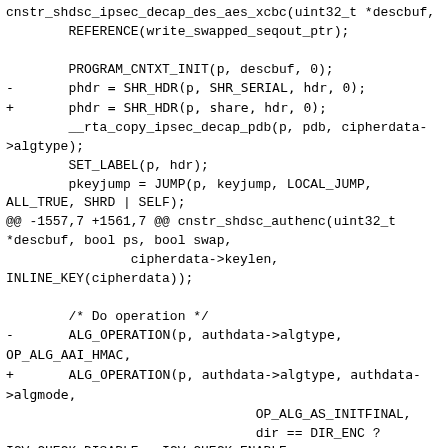cnstr_shdsc_ipsec_decap_des_aes_xcbc(uint32_t *descbuf,
        REFERENCE(write_swapped_seqout_ptr);

        PROGRAM_CNTXT_INIT(p, descbuf, 0);
-       phdr = SHR_HDR(p, SHR_SERIAL, hdr, 0);
+       phdr = SHR_HDR(p, share, hdr, 0);
        __rta_copy_ipsec_decap_pdb(p, pdb, cipherdata->algtype);
        SET_LABEL(p, hdr);
        pkeyjump = JUMP(p, keyjump, LOCAL_JUMP,
ALL_TRUE, SHRD | SELF);
@@ -1557,7 +1561,7 @@ cnstr_shdsc_authenc(uint32_t *descbuf, bool ps, bool swap,
                cipherdata->keylen,
INLINE_KEY(cipherdata));

        /* Do operation */
-       ALG_OPERATION(p, authdata->algtype, OP_ALG_AAI_HMAC,
+       ALG_OPERATION(p, authdata->algtype, authdata->algmode,
                                OP_ALG_AS_INITFINAL,
                                dir == DIR_ENC ?
ICV_CHECK_DISABLE : ICV_CHECK_ENABLE,
                                dir);
@@ -1569,7 +1573,13 @@ cnstr_shdsc_authenc(uint32_t *descbuf, bool ps, bool swap,

        SET_LABEL(p, keyjmp);